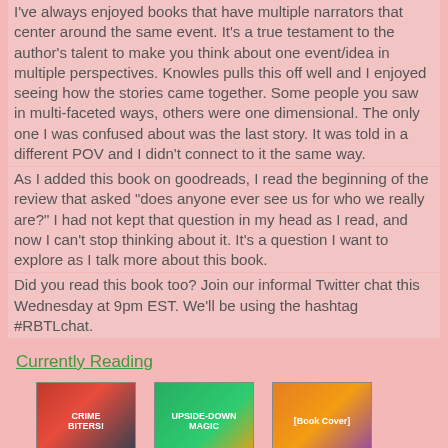I've always enjoyed books that have multiple narrators that center around the same event. It's a true testament to the author's talent to make you think about one event/idea in multiple perspectives. Knowles pulls this off well and I enjoyed seeing how the stories came together. Some people you saw in multi-faceted ways, others were one dimensional. The only one I was confused about was the last story. It was told in a different POV and I didn't connect to it the same way.
As I added this book on goodreads, I read the beginning of the review that asked "does anyone ever see us for who we really are?" I had not kept that question in my head as I read, and now I can't stop thinking about it. It's a question I want to explore as I talk more about this book.
Did you read this book too? Join our informal Twitter chat this Wednesday at 9pm EST. We'll be using the hashtag #RBTLchat.
Currently Reading
[Figure (photo): Three book covers side by side: Crime Biters!, Upside-Down Magic, and a third book with children on the cover]